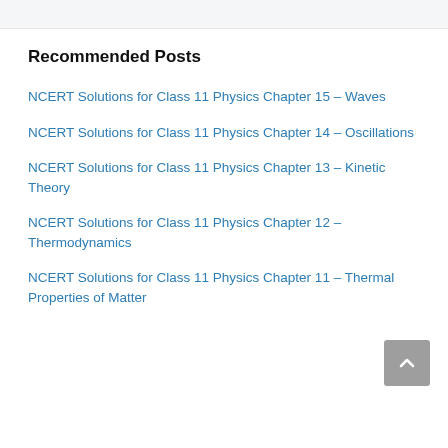Recommended Posts
NCERT Solutions for Class 11 Physics Chapter 15 – Waves
NCERT Solutions for Class 11 Physics Chapter 14 – Oscillations
NCERT Solutions for Class 11 Physics Chapter 13 – Kinetic Theory
NCERT Solutions for Class 11 Physics Chapter 12 – Thermodynamics
NCERT Solutions for Class 11 Physics Chapter 11 – Thermal Properties of Matter